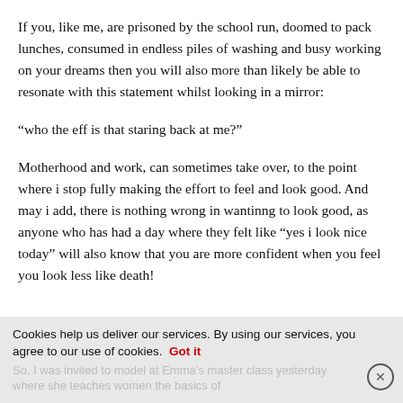If you, like me, are prisoned by the school run, doomed to pack lunches, consumed in endless piles of washing and busy working on your dreams then you will also more than likely be able to resonate with this statement whilst looking in a mirror:
“who the eff is that staring back at me?”
Motherhood and work, can sometimes take over, to the point where i stop fully making the effort to feel and look good. And may i add, there is nothing wrong in wantinng to look good, as anyone who has had a day where they felt like “yes i look nice today” will also know that you are more confident when you feel you look less like death!
Cookies help us deliver our services. By using our services, you agree to our use of cookies. Got it
So, I was invited to model at Emma’s master class yesterday where she teaches women the basics of